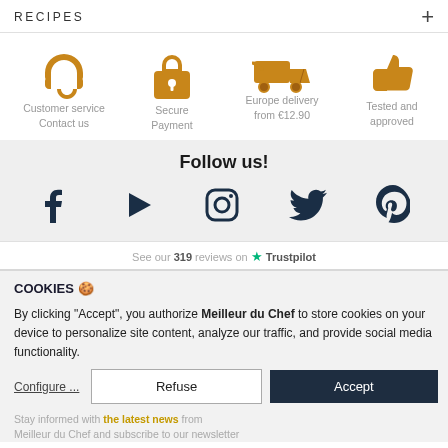RECIPES +
[Figure (infographic): Four golden icons row: customer service headset, secure payment padlock, Europe delivery truck, thumbs up for tested and approved]
Customer service Contact us
Secure Payment
Europe delivery from €12.90
Tested and approved
Follow us!
[Figure (infographic): Social media icons row: Facebook, YouTube play button, Instagram, Twitter, Pinterest]
See our 319 reviews on ★ Trustpilot
COOKIES 🍪
By clicking "Accept", you authorize Meilleur du Chef to store cookies on your device to personalize site content, analyze our traffic, and provide social media functionality.
Configure ...   Refuse   Accept
Stay informed with the latest news from Meilleur du Chef and subscribe to our newsletter